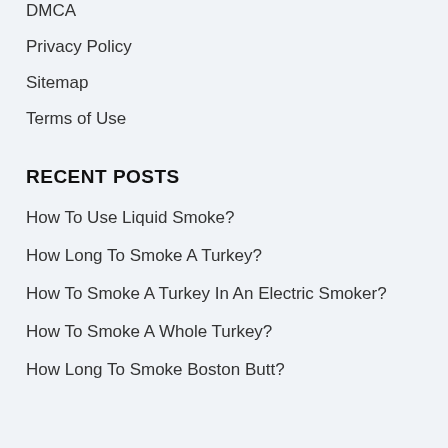DMCA
Privacy Policy
Sitemap
Terms of Use
RECENT POSTS
How To Use Liquid Smoke?
How Long To Smoke A Turkey?
How To Smoke A Turkey In An Electric Smoker?
How To Smoke A Whole Turkey?
How Long To Smoke Boston Butt?